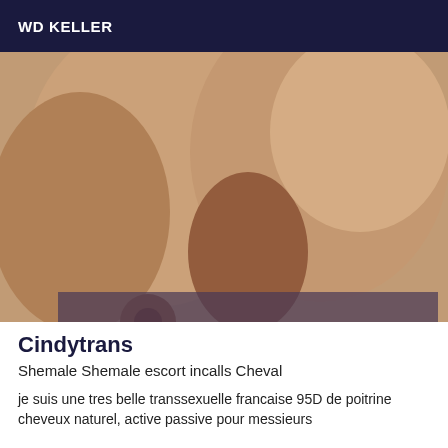WD KELLER
[Figure (photo): Close-up photo with skin tones, beige and brown hues]
Cindytrans
Shemale Shemale escort incalls Cheval
je suis une tres belle transsexuelle francaise 95D de poitrine cheveux naturel, active passive pour messieurs